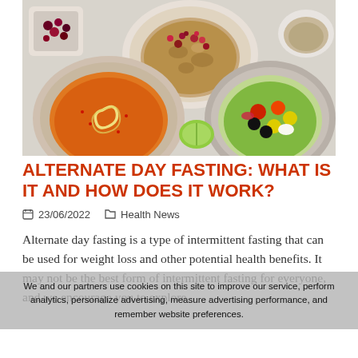[Figure (photo): Top-down view of food bowls: granola with berries, salad with colourful vegetables, orange soup with cream swirl, and a lime wedge on a light grey background.]
ALTERNATE DAY FASTING: WHAT IS IT AND HOW DOES IT WORK?
23/06/2022    Health News
Alternate day fasting is a type of intermittent fasting that can be used for weight loss and other potential health benefits. It may not be the best form of intermittent fasting for everyone, and we encourage you to explore
We and our partners use cookies on this site to improve our service, perform analytics, personalize advertising, measure advertising performance, and remember website preferences.